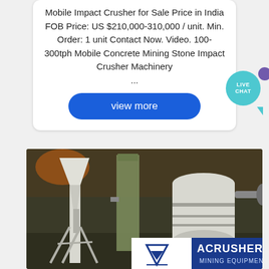Mobile Impact Crusher for Sale Price in India FOB Price: US $210,000-310,000 / unit. Min. Order: 1 unit Contact Now. Video. 100-300tph Mobile Concrete Mining Stone Impact Crusher Machinery ...
view more
[Figure (photo): Industrial mining equipment / crusher machinery inside a warehouse or factory, with large white vertical cylindrical structures and metal supports. An ACRUSHER MINING EQUIPMENT logo banner is overlaid at the bottom right.]